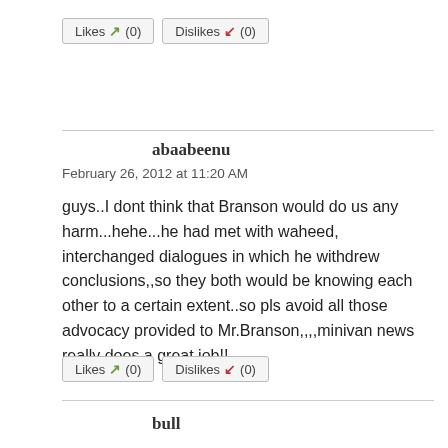[Figure (other): Likes (thumbs up) and Dislikes (thumbs down) vote buttons, both showing (0)]
abaabeenu
February 26, 2012 at 11:20 AM
guys..I dont think that Branson would do us any harm...hehe...he had met with waheed, interchanged dialogues in which he withdrew conclusions,,so they both would be knowing each other to a certain extent..so pls avoid all those advocacy provided to Mr.Branson,,,,minivan news really does a great job!!
[Figure (other): Likes (thumbs up) and Dislikes (thumbs down) vote buttons, both showing (0)]
bull